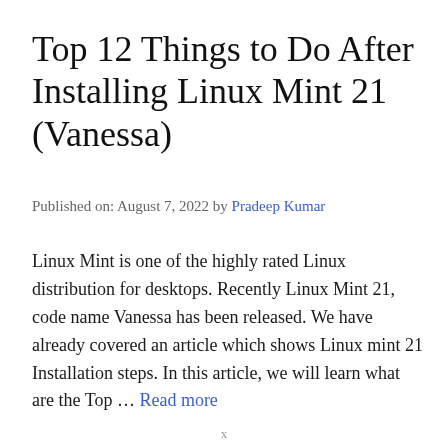Top 12 Things to Do After Installing Linux Mint 21 (Vanessa)
Published on: August 7, 2022 by Pradeep Kumar
Linux Mint is one of the highly rated Linux distribution for desktops. Recently Linux Mint 21, code name Vanessa has been released. We have already covered an article which shows Linux mint 21 Installation steps. In this article, we will learn what are the Top … Read more